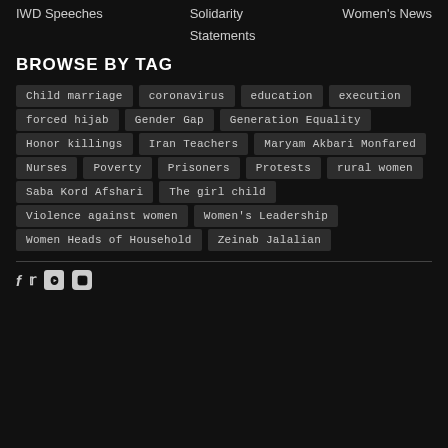IWD Speeches
Solidarity
Statements
Women's News
BROWSE BY TAG
Child marriage
coronavirus
education
execution
forced hijab
Gender Gap
Generation Equality
Honor killings
Iran Teachers
Maryam Akbari Monfared
Nurses
Poverty
Prisoners
Protests
rural women
Saba Kord Afshari
The girl child
Violence against women
Women's Leadership
Women Heads of Household
Zeinab Jalalian